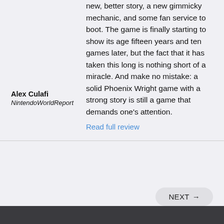new, better story, a new gimmicky mechanic, and some fan service to boot. The game is finally starting to show its age fifteen years and ten games later, but the fact that it has taken this long is nothing short of a miracle. And make no mistake: a solid Phoenix Wright game with a strong story is still a game that demands one's attention.
Alex Culafi
NintendoWorldReport
Read full review
NEXT →